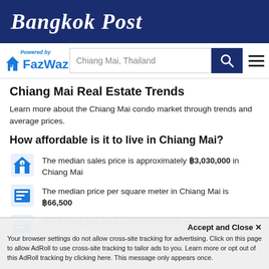Bangkok Post
[Figure (logo): FazWaz logo with 'Powered by' text and house icon, with search bar showing 'Chiang Mai, Thailand' and search button and hamburger menu]
Chiang Mai Real Estate Trends
Learn more about the Chiang Mai condo market through trends and average prices.
How affordable is it to live in Chiang Mai?
The median sales price is approximately ฿3,030,000 in Chiang Mai
The median price per square meter in Chiang Mai is ฿66,500
The Chiang Mai area currently has 193 properties for sale
Accept and Close ✕
Your browser settings do not allow cross-site tracking for advertising. Click on this page to allow AdRoll to use cross-site tracking to tailor ads to you. Learn more or opt out of this AdRoll tracking by clicking here. This message only appears once.